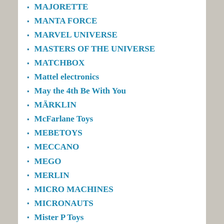MAJORETTE
MANTA FORCE
MARVEL UNIVERSE
MASTERS OF THE UNIVERSE
MATCHBOX
Mattel electronics
May the 4th Be With You
MÄRKLIN
McFarlane Toys
MEBETOYS
MECCANO
MEGO
MERLIN
MICRO MACHINES
MICRONAUTS
Mister P Toys
Monchhichi
MONOGRAM
MONOPOLY
Montre Gag
MORPHODROIDS
MOUSE TRAP